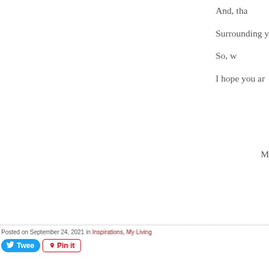And, tha
Surrounding y
So, w
I hope you ar
M
Posted on September 24, 2021 in Inspirations, My Living